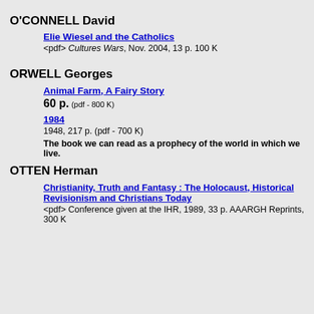O'CONNELL David
Elie Wiesel and the Catholics
<pdf> Cultures Wars, Nov. 2004, 13 p. 100 K
ORWELL Georges
Animal Farm, A Fairy Story
60 p. (pdf - 800 K)
1984
1948, 217 p. (pdf - 700 K)
The book we can read as a prophecy of the world in which we live.
OTTEN Herman
Christianity, Truth and Fantasy : The Holocaust, Historical Revisionism and Christians Today
<pdf> Conference given at the IHR, 1989, 33 p. AAARGH Reprints, 300 K